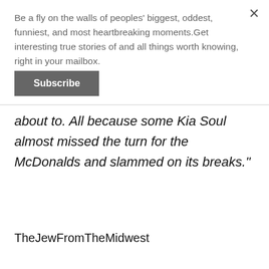Be a fly on the walls of peoples' biggest, oddest, funniest, and most heartbreaking moments.Get interesting true stories of and all things worth knowing, right in your mailbox.
Subscribe
about to. All because some Kia Soul almost missed the turn for the McDonalds and slammed on its breaks."
TheJewFromTheMidwest